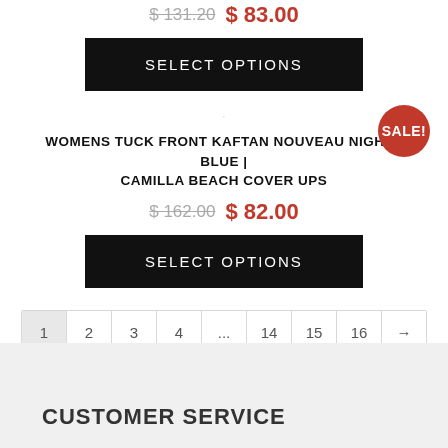$ 131.20  $ 83.00
SELECT OPTIONS
WOMENS TUCK FRONT KAFTAN NOUVEAU NIGHTS BLUE | CAMILLA BEACH COVER UPS
$ 162.00  $ 82.00
SELECT OPTIONS
SALE!
1  2  3  4  ...  14  15  16  →
CUSTOMER SERVICE